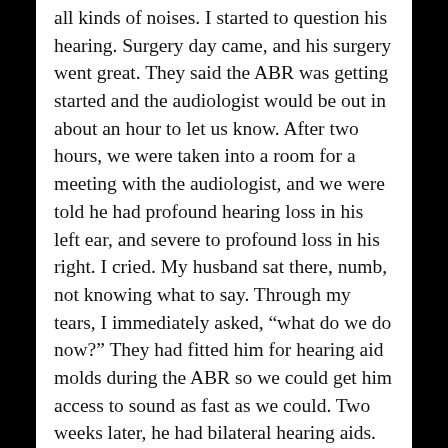all kinds of noises. I started to question his hearing. Surgery day came, and his surgery went great. They said the ABR was getting started and the audiologist would be out in about an hour to let us know. After two hours, we were taken into a room for a meeting with the audiologist, and we were told he had profound hearing loss in his left ear, and severe to profound loss in his right. I cried. My husband sat there, numb, not knowing what to say. Through my tears, I immediately asked, “what do we do now?” They had fitted him for hearing aid molds during the ABR so we could get him access to sound as fast as we could. Two weeks later, he had bilateral hearing aids. We were told that if we wanted him to have a good chance at speech, because of how much hearing loss he had, we should look into cochlear implants. My husband and I discussed it, and we decided it was